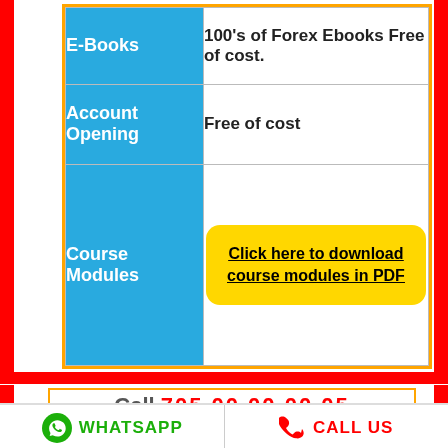| Feature | Detail |
| --- | --- |
| E-Books | 100's of Forex Ebooks Free of cost. |
| Account Opening | Free of cost |
| Course Modules | Click here to download course modules in PDF |
Call 705 00 00 00 05
WHATSAPP
CALL US